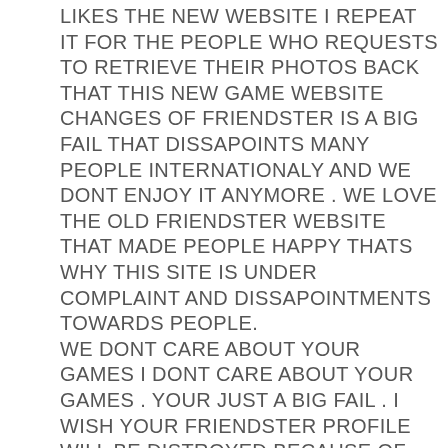LIKES THE NEW WEBSITE I REPEAT IT FOR THE PEOPLE WHO REQUESTS TO RETRIEVE THEIR PHOTOS BACK THAT THIS NEW GAME WEBSITE CHANGES OF FRIENDSTER IS A BIG FAIL THAT DISSAPOINTS MANY PEOPLE INTERNATIONALY AND WE DONT ENJOY IT ANYMORE . WE LOVE THE OLD FRIENDSTER WEBSITE THAT MADE PEOPLE HAPPY THATS WHY THIS SITE IS UNDER COMPLAINT AND DISSAPOINTMENTS TOWARDS PEOPLE. WE DONT CARE ABOUT YOUR GAMES I DONT CARE ABOUT YOUR GAMES . YOUR JUST A BIG FAIL . I WISH YOUR FRIENDSTER PROFILE WILL BE DISTROYED BECAUSE OF MANY COMMENTS THAT YOUVE RECIEVED AND MANY COMPLAINTS OF FRIENDSTER INTERNATIONALY. I DONT CARE ABOUT FRIENDSTERS SAYYINGS ANYMORE . BUT I CARE ABOUT THE PEOPLES FEELINGS TOWARDS THE CHANGES AND ITS BIG DISSAPOINTMENTS AND FAILURE OF MAKING PEOPLE TO LIKE